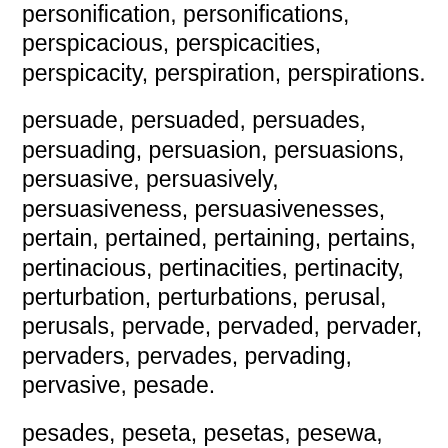personification, personifications, perspicacious, perspicacities, perspicacity, perspiration, perspirations.
persuade, persuaded, persuades, persuading, persuasion, persuasions, persuasive, persuasively, persuasiveness, persuasivenesses, pertain, pertained, pertaining, pertains, pertinacious, pertinacities, pertinacity, perturbation, perturbations, perusal, perusals, pervade, pervaded, pervader, pervaders, pervades, pervading, pervasive, pesade.
pesades, peseta, pesetas, pesewa, pesewas, pessaries, pessary, petal, petaled, petaline, petalled, petalodies, petalody, petaloid, petalous, petals, petard, petards, petasos, petasoses, petasus.
petasuses, petechia, petechiae, petiolar, petrifaction, petrifactions, petrosal, petticoat, petticoats, petulance, petulances, petulant, petulantly, petunia,